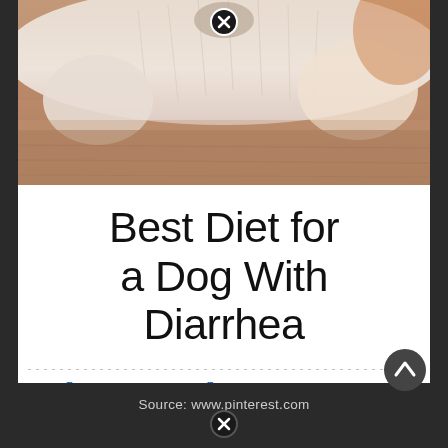[Figure (photo): Close-up photo of a dog lying on a wooden floor, showing the dog's nose, paws and fur from above]
Best Diet for a Dog With Diarrhea
[Figure (logo): LoveToKnow logo with blue text and orange heart icon]
Source: www.pinterest.com